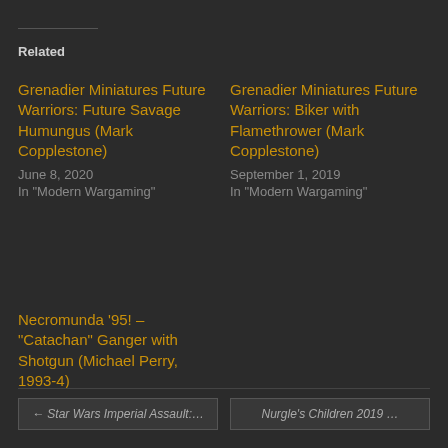Related
Grenadier Miniatures Future Warriors: Future Savage Humungus (Mark Copplestone)
June 8, 2020
In "Modern Wargaming"
Grenadier Miniatures Future Warriors: Biker with Flamethrower (Mark Copplestone)
September 1, 2019
In "Modern Wargaming"
Necromunda '95! – "Catachan" Ganger with Shotgun (Michael Perry, 1993-4)
August 18, 2019
In "Necromunda"
← Star Wars Imperial Assault:…    Nurgle's Children 2019 …